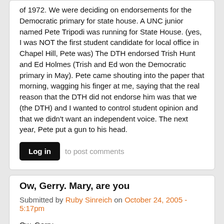of 1972. We were deciding on endorsements for the Democratic primary for state house. A UNC junior named Pete Tripodi was running for State House. (yes, I was NOT the first student candidate for local office in Chapel Hill, Pete was) The DTH endorsed Trish Hunt and Ed Holmes (Trish and Ed won the Democratic primary in May). Pete came shouting into the paper that morning, wagging his finger at me, saying that the real reason that the DTH did not endorse him was that we (the DTH) and I wanted to control student opinion and that we didn't want an independent voice. The next year, Pete put a gun to his head.
Log in to post comments
Ow, Gerry. Mary, are you
Submitted by Ruby Sinreich on October 24, 2005 - 5:17pm
Ow, Gerry.
Mary, are you trying to play on their "independence" and do